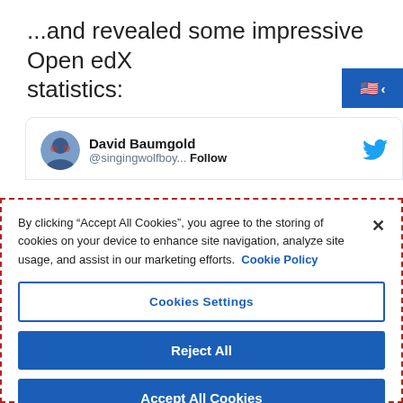...and revealed some impressive Open edX statistics:
[Figure (screenshot): Tweet card header showing David Baumgold (@singingwolfboy) with Follow link and Twitter bird icon, partially visible]
By clicking “Accept All Cookies”, you agree to the storing of cookies on your device to enhance site navigation, analyze site usage, and assist in our marketing efforts. Cookie Policy
Cookies Settings
Reject All
Accept All Cookies